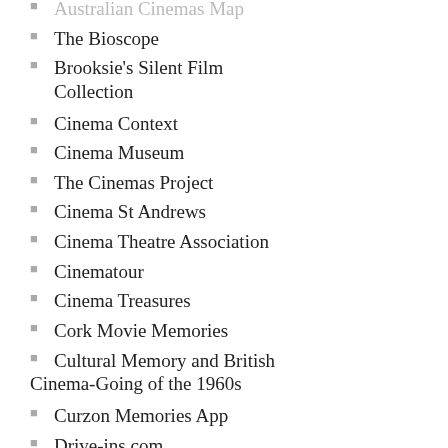Australian Cinemas Map
The Bioscope
Brooksie's Silent Film Collection
Cinema Context
Cinema Museum
The Cinemas Project
Cinema St Andrews
Cinema Theatre Association
Cinematour
Cinema Treasures
Cork Movie Memories
Cultural Memory and British Cinema-Going of the 1960s
Curzon Memories App
Drive-ins.com
Early Cinema in Scotland
Filmarchiv Leuzinger